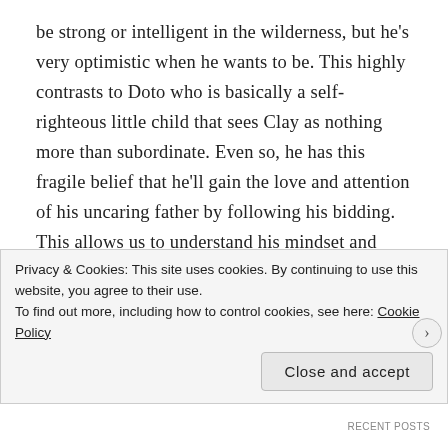be strong or intelligent in the wilderness, but he's very optimistic when he wants to be. This highly contrasts to Doto who is basically a self-righteous little child that sees Clay as nothing more than subordinate. Even so, he has this fragile belief that he'll gain the love and attention of his uncaring father by following his bidding. This allows us to understand his mindset and know why he acts the way he does toward Clay, and we begin to warm up to him more as the both of them tear down the barriers of god/mortal to survive on their journey. This eventually leads to both the leopard deity and human mortal wondering why there's a divide
Privacy & Cookies: This site uses cookies. By continuing to use this website, you agree to their use.
To find out more, including how to control cookies, see here: Cookie Policy
Close and accept